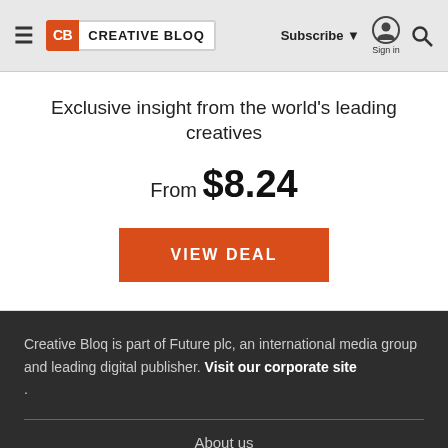CB CREATIVE BLOQ | Subscribe ▼ Sign in 🔍
Exclusive insight from the world's leading creatives
From $8.24
VIEW DEAL
Creative Bloq is part of Future plc, an international media group and leading digital publisher. Visit our corporate site .
About us